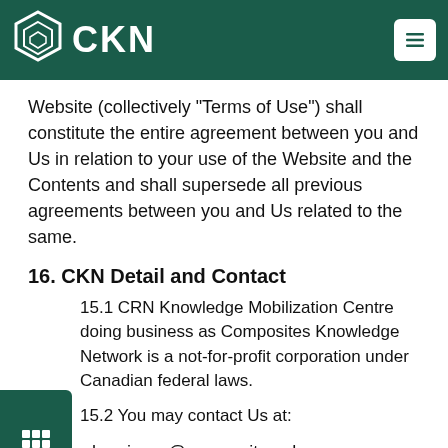CKN
Website (collectively "Terms of Use") shall constitute the entire agreement between you and Us in relation to your use of the Website and the Contents and shall supersede all previous agreements between you and Us related to the same.
16. CKN Detail and Contact
15.1 CRN Knowledge Mobilization Centre doing business as Composites Knowledge Network is a not-for-profit corporation under Canadian federal laws.
15.2 You may contact Us at:
Email: cknprivacy@composites.ubc.ca
Composites Knowledge Network
309-6350 Stores Rd.